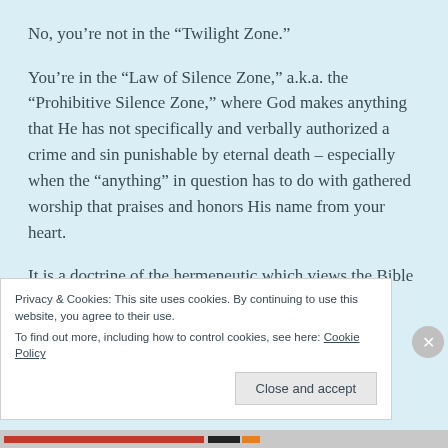No, you’re not in the “Twilight Zone.”
You’re in the “Law of Silence Zone,” a.k.a. the “Prohibitive Silence Zone,” where God makes anything that He has not specifically and verbally authorized a crime and sin punishable by eternal death – especially when the “anything” in question has to do with gathered worship that praises and honors His name from your heart.
It is a doctrine of the hermeneutic which views the Bible as either completely or primarily a book of laws by which
Privacy & Cookies: This site uses cookies. By continuing to use this website, you agree to their use.
To find out more, including how to control cookies, see here: Cookie Policy
Close and accept